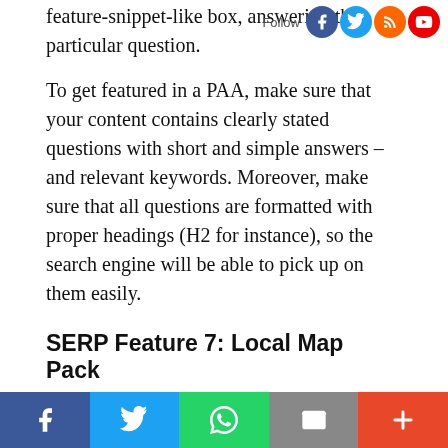feature-snippet-like box, answering the particular question.
To get featured in a PAA, make sure that your content contains clearly stated questions with short and simple answers – and relevant keywords. Moreover, make sure that all questions are formatted with proper headings (H2 for instance), so the search engine will be able to pick up on them easily.
SERP Feature 7: Local Map Pack
If a user is searching for something related to a particular location (a tourist attraction, institution, or specific restaurant in a particular city), a local map pack, containing a section of the location's map will appear. This includes market suggested locations, as well as smaller boxes underneath, featuring additional information about the